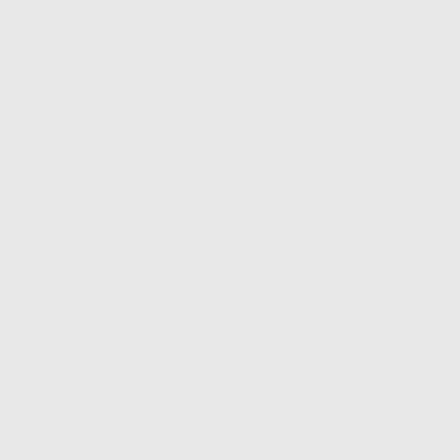write a large by persecution— in this way the evil may be arrested that he would be tioned honour to mission- any such memorial—am to the last article of their duty, do by their lives Norwegians, whom protection.
and integrity the offices of magis they may have been called. sist; a which Perhaps we have already b expressions that may be objected
We should be sorry if this coul not question Mr. Cole- respectab
, too, that he was but a gratuito with hold a thankful discharge an on Ethical Philosophy is full of c of the neither reduce into order n out of poetry and metaphysics, b eminently dis- value; and though relates to Legislation, has not yet reason to believe that temper and executors, judgment on the busin world. And yet it is for his prepo